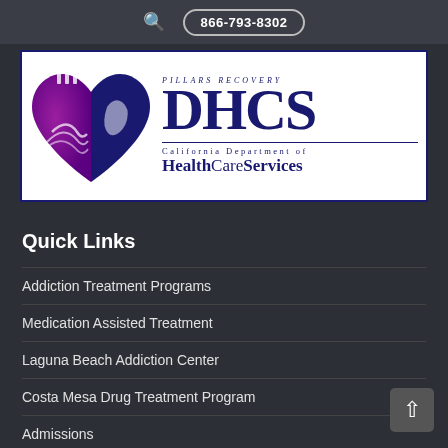866-793-8302
[Figure (logo): Pillars Recovery and DHCS (California Department of HealthCare Services) overlapping logos — purple heart/wave icon on left, large dark blue DHCS letters on right with California Department of HealthCare Services text]
Quick Links
Addiction Treatment Programs
Medication Assisted Treatment
Laguna Beach Addiction Center
Costa Mesa Drug Treatment Program
Admissions